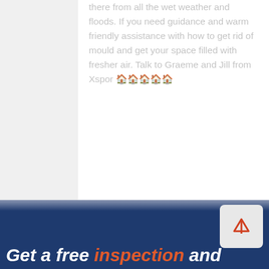there from all the wet weather and floods. If you need guidance and warm friendly assistance with how to get rid of mould and get your space filled with fresher air. Talk to Graeme and Jill from Xspor 🏠🏠🏠🏠
2m
[Figure (logo): Facebook circular icon in gray]
More reviews
Get a free inspection and
[Figure (other): Up arrow button in a rounded rectangle]